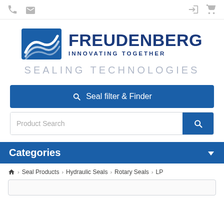Navigation bar with phone, email, login, and cart icons
[Figure (logo): Freudenberg logo with blue wave graphic, text FREUDENBERG INNOVATING TOGETHER, and SEALING TECHNOLOGIES subtitle]
Seal filter & Finder
Product Search
Categories
Home > Seal Products > Hydraulic Seals > Rotary Seals > LP